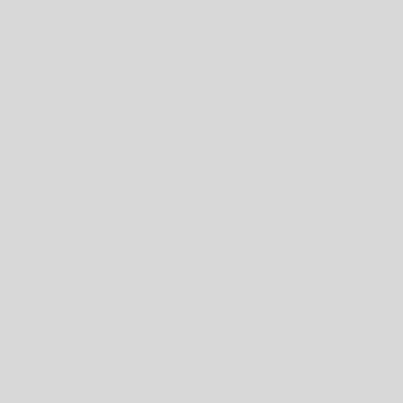[Figure (screenshot): Partial screenshot of a scientific institute website showing an article entry with title 'Induced Protein... Germination Pla...' with Abstract and RIS links, navigation bar with links Startseite, Aktuelles, Vorträge, Publikationen, Öffentliche Ausschreibun..., and footer with Leibniz Gemeinschaft and WissenschaftsCampus logos on dark navy background.]
Startseite   Aktuelles   Vorträge   Publikationen   Öffentliche Ausschreibun...